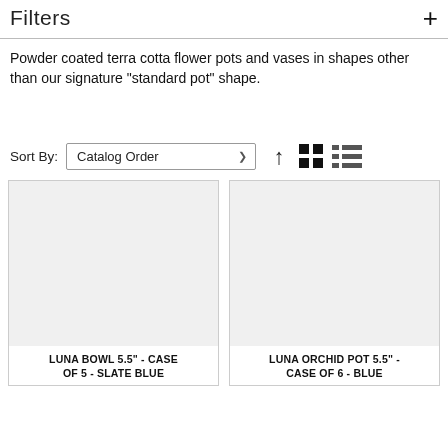Filters +
Powder coated terra cotta flower pots and vases in shapes other than our signature "standard pot" shape.
Sort By: Catalog Order
[Figure (screenshot): Product card for LUNA BOWL 5.5" - CASE OF 5 - SLATE BLUE with a blank white/gray product image area]
LUNA BOWL 5.5" - CASE OF 5 - SLATE BLUE
[Figure (screenshot): Product card for LUNA ORCHID POT 5.5" - CASE OF 6 - BLUE with a blank white/gray product image area]
LUNA ORCHID POT 5.5" - CASE OF 6 - BLUE